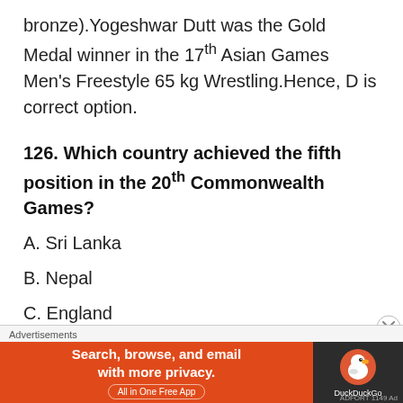bronze).Yogeshwar Dutt was the Gold Medal winner in the 17th Asian Games Men's Freestyle 65 kg Wrestling.Hence, D is correct option.
126. Which country achieved the fifth position in the 20th Commonwealth Games?
A. Sri Lanka
B. Nepal
C. England
[Figure (other): DuckDuckGo advertisement banner with orange background reading 'Search, browse, and email with more privacy. All in One Free App' and DuckDuckGo logo on dark background]